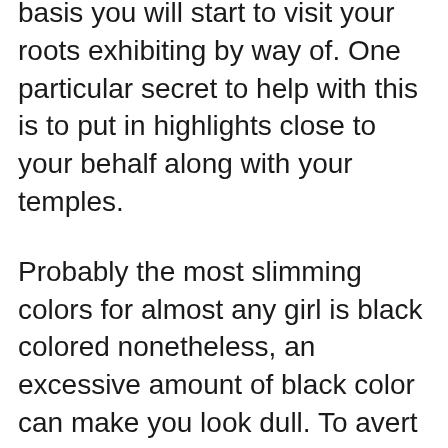basis you will start to visit your roots exhibiting by way of. One particular secret to help with this is to put in highlights close to your behalf along with your temples.
Probably the most slimming colors for almost any girl is black colored nonetheless, an excessive amount of black color can make you look dull. To avert this effect, give a brightly colored blazer or scarf. When you have an the apple company-shaped body, put on either a black color skirt or black colored pants having a daring shaded blazer or blouse to create bring the attention up.
Generally gown respectfully for that situation. Don't dress in a tubing leading if you're attending a wedding event, and don't